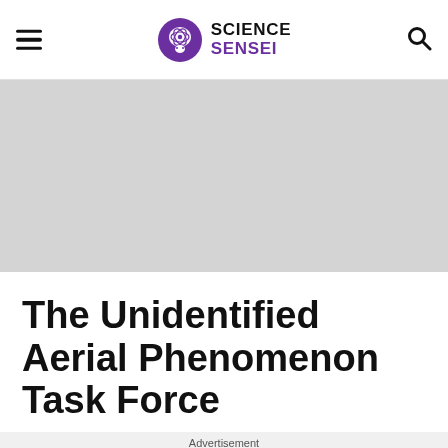SCIENCE SENSEI
[Figure (illustration): Gray hero banner placeholder image area]
The Unidentified Aerial Phenomenon Task Force
Advertisement
[Figure (photo): Advertisement banner: two women wearing sunglasses with text 'Sunglasses for the Make', 'TIMELESS STYLES. UNMATCHED QUALITY', and a SHOP NOW button]